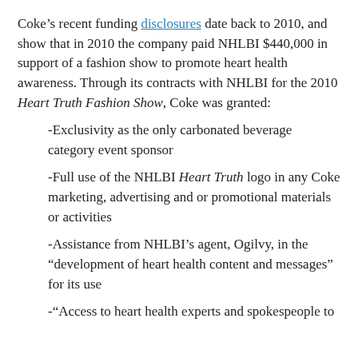Coke's recent funding disclosures date back to 2010, and show that in 2010 the company paid NHLBI $440,000 in support of a fashion show to promote heart health awareness. Through its contracts with NHLBI for the 2010 Heart Truth Fashion Show, Coke was granted:
-Exclusivity as the only carbonated beverage category event sponsor
-Full use of the NHLBI Heart Truth logo in any Coke marketing, advertising and or promotional materials or activities
-Assistance from NHLBI's agent, Ogilvy, in the “development of heart health content and messages” for its use
-“Access to heart health experts and spokespeople to